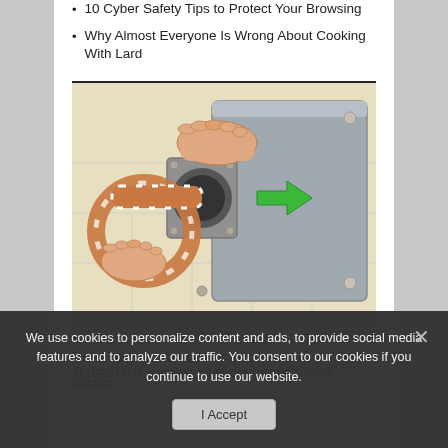10 Cyber Safety Tips to Protect Your Browsing
Why Almost Everyone Is Wrong About Cooking With Lard
[Figure (illustration): Illustration of hands feeding a coiled snake into a cylindrical opening of a gray metal box/generator, with a green arrow pointing to the right indicating direction of insertion. Background shows a tiled floor.]
MORE AND MORE PEOPLE ARE TURNING TO THIS
ALTERNATIVE METHOD TO PRODUCE THEIR OWN ENERGY
We use cookies to personalize content and ads, to provide social media features and to analyze our traffic. You consent to our cookies if you continue to use our website.